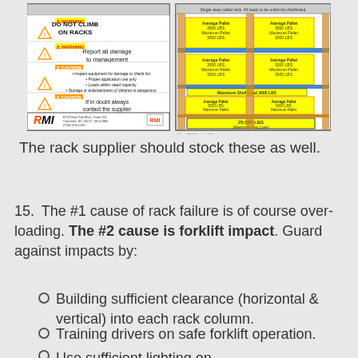[Figure (illustration): RMI rack load placard showing warning/caution labels on the left panel and a rack bay diagram with load capacities on the right panel. Warnings include 'DO NOT CLIMB ON RACKS' and 'Report all damage to management'. Caution notes about damage inspection. RMI logo and address at bottom left. Right panel shows a rack diagram with average and maximum pallet loads per level and a 25,000 LBS Maximum Bay Load label at the bottom.]
The rack supplier should stock these as well.
The #1 cause of rack failure is of course over-loading. The #2 cause is forklift impact. Guard against impacts by:
Building sufficient clearance (horizontal & vertical) into each rack column.
Training drivers on safe forklift operation.
Use sufficient lighting on...